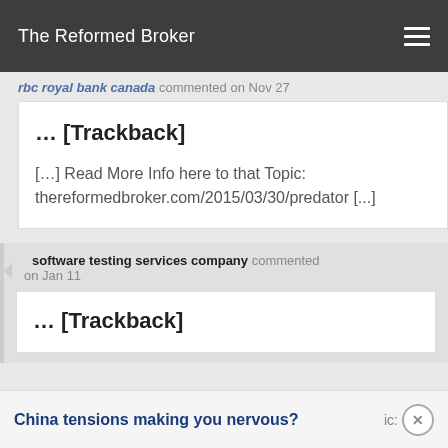The Reformed Broker
rbc royal bank canada commented on Nov 27
... [Trackback]

[...] Read More Info here to that Topic: thereformedbroker.com/2015/03/30/predator [...]
software testing services company commented on Jan 11
... [Trackback]
China tensions making you nervous?